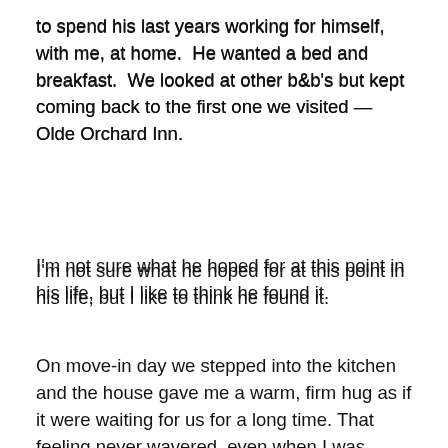to spend his last years working for himself, with me, at home.  He wanted a bed and breakfast.  We looked at other b&b's but kept coming back to the first one we visited — Olde Orchard Inn.
I'm not sure what he hoped for at this point in his life, but I like to think he found it.
On move-in day we stepped into the kitchen and the house gave me a warm, firm hug as if it were waiting for us for a long time. That feeling never wavered, even when I was alone in it day after night after day in the coldest of winters, with the snow piled high over my head, and the wind wailing outside the bedrooms windows.
[Figure (photo): Outdoor photo showing trees with green foliage against a light blue sky, viewed from below or at ground level. Trees frame the left and right sides of the image with sky visible in the center background.]